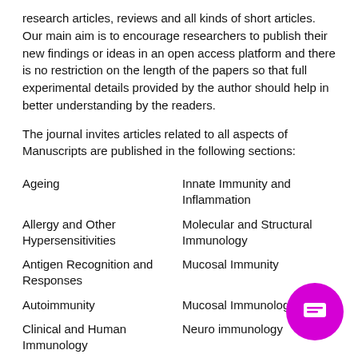research articles, reviews and all kinds of short articles. Our main aim is to encourage researchers to publish their new findings or ideas in an open access platform and there is no restriction on the length of the papers so that full experimental details provided by the author should help in better understanding by the readers.
The journal invites articles related to all aspects of Manuscripts are published in the following sections:
Ageing
Innate Immunity and Inflammation
Allergy and Other Hypersensitivities
Molecular and Structural Immunology
Antigen Recognition and Responses
Mucosal Immunity
Autoimmunity
Mucosal Immunology
Clinical and Human Immunology
Neuro immunology
Clinical Laboratory Immunology
Novel Immunological Met…
HIV
Primary Immunodeficiency